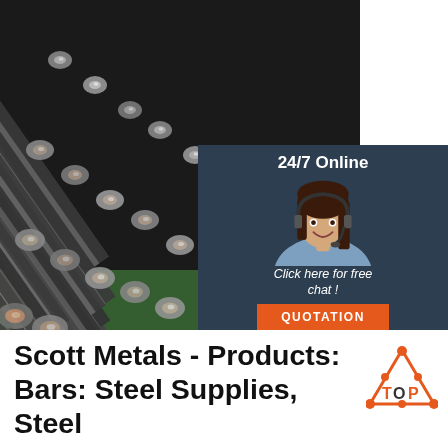[Figure (photo): Close-up photograph of many steel round bars arranged diagonally, showing their metallic circular ends, with a green surface visible at the bottom. Overlaid with a customer service chat widget showing '24/7 Online', a woman wearing a headset, 'Click here for free chat!' text, and an orange QUOTATION button.]
Scott Metals - Products: Bars: Steel Supplies, Steel ...